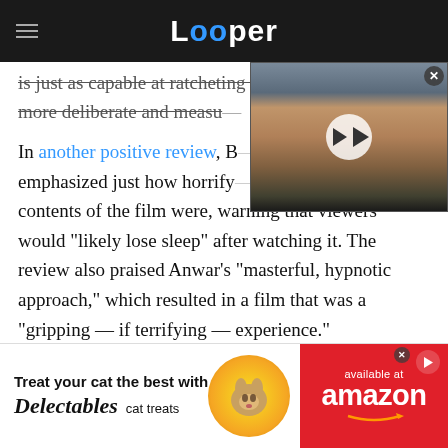Looper
is just as capable at ratcheting up the suspense via a more deliberate and measu…
In another positive review, B… emphasized just how horrify… contents of the film were, warning that viewers would "likely lose sleep" after watching it. The review also praised Anwar's "masterful, hypnotic approach," which resulted in a film that was a "gripping — if terrifying — experience."
[Figure (photo): Video thumbnail showing a stern-looking man with a play button overlay]
[Figure (photo): Advertisement: Treat your cat the best with Delectables cat treats, available at Amazon. Shows a cat image on a yellow circle background and Amazon logo on red background.]